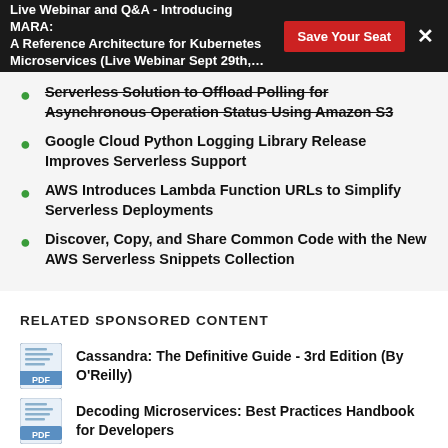Live Webinar and Q&A - Introducing MARA: A Reference Architecture for Kubernetes Microservices (Live Webinar Sept 29th,…
Serverless Solution to Offload Polling for Asynchronous Operation Status Using Amazon S3
Google Cloud Python Logging Library Release Improves Serverless Support
AWS Introduces Lambda Function URLs to Simplify Serverless Deployments
Discover, Copy, and Share Common Code with the New AWS Serverless Snippets Collection
RELATED SPONSORED CONTENT
Cassandra: The Definitive Guide - 3rd Edition (By O'Reilly)
Decoding Microservices: Best Practices Handbook for Developers
Four Key Technologies That Enable Microservices
[Analyst Brief] Accelerate Data-Driven Transformation with Data Mesh